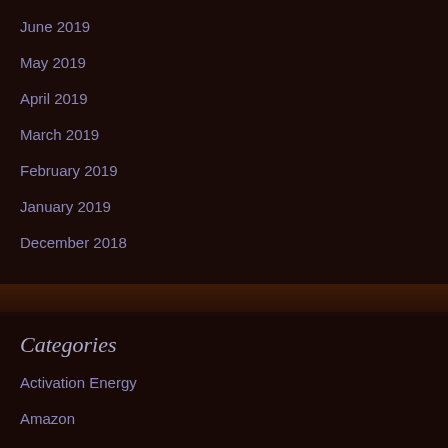June 2019
May 2019
April 2019
March 2019
February 2019
January 2019
December 2018
Categories
Activation Energy
Amazon
Breaking the Rules
Den Mother